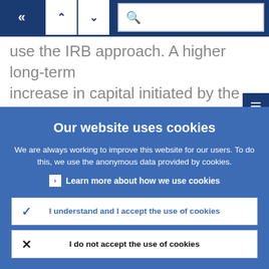[Figure (screenshot): Navigation bar with back arrow button (dark blue), up/down arrow buttons (white), and search input field with magnifying glass icon]
use the IRB approach. A higher long-term increase in capital initiated by the Basel II finalisation for IRB than for other banks is i...
Our website uses cookies
We are always working to improve this website for our users. To do this, we use the anonymous data provided by cookies.
Learn more about how we use cookies
I understand and I accept the use of cookies
I do not accept the use of cookies